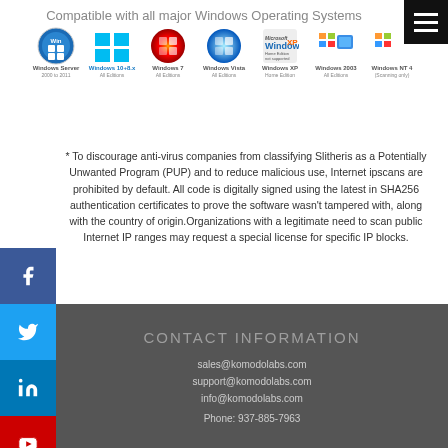Compatible with all major Windows Operating Systems
[Figure (illustration): Row of Windows OS logos: Windows Server 2000 to 2011, Windows 10+8.x All Editions, Windows 7 All Editions, Windows Vista All Editions, Windows XP Home Edition not supported, Windows 2003 All Editions, Windows NT 4 (Scanning only)]
* To discourage anti-virus companies from classifying Slitheris as a Potentially Unwanted Program (PUP) and to reduce malicious use, Internet ipscans are prohibited by default. All code is digitally signed using the latest in SHA256 authentication certificates to prove the software wasn't tampered with, along with the country of origin.Organizations with a legitimate need to scan public Internet IP ranges may request a special license for specific IP blocks.
CONTACT INFORMATION
sales@komodolabs.com
support@komodolabs.com
info@komodolabs.com

Phone: 937-885-7963